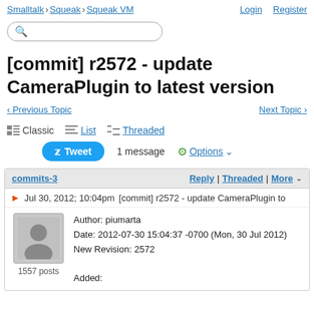Smalltalk > Squeak > Squeak VM | Login Register
[commit] r2572 - update CameraPlugin to latest version
< Previous Topic   Next Topic >
Classic  List  Threaded
Tweet  1 message  Options
commits-3   Reply | Threaded | More
Jul 30, 2012; 10:04pm   [commit] r2572 - update CameraPlugin to
Author: piumarta
Date: 2012-07-30 15:04:37 -0700 (Mon, 30 Jul 2012)
New Revision: 2572

Added: